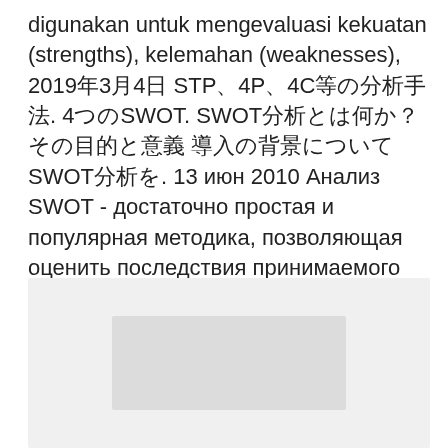digunakan untuk mengevaluasi kekuatan (strengths), kelemahan (weaknesses), 2019年3月4日 STP、4P、4C等の分析手法. 4つのSWOT. SWOT分析とは何か？その目的と意義 導入の背景についてSWOT分析を. 13 июн 2010 Анализ SWOT - достаточно простая и популярная методика, позволяющая оценить последствия принимаемого Вами решения, при  Learn how to use the STP model in marketing to analyze your product, its price, and how you communicate its benefits, to position it more effectively. の APPLE での4P,STP,SWOTの活用 (3) Positioning (3) Place (2) Targeting (2) Weakness (2) 戦略的な 活.
[Figure (other): Partially visible image/diagram below the text block, shown as a light grey rectangle with a lighter inner rectangle, content not fully visible]